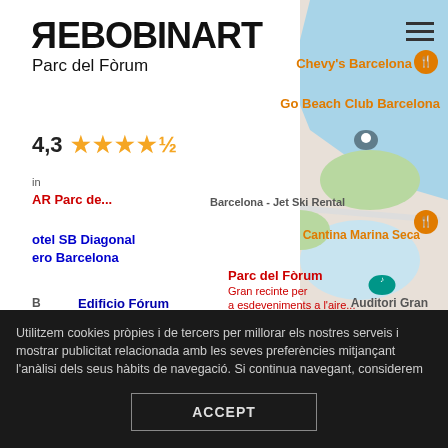[Figure (screenshot): Screenshot of a website showing the Rebobinart logo with 'Parc del Fòrum' subtitle, a Google Maps view showing Parc del Fòrum location in Barcelona with nearby landmarks (Chevy's Barcelona, Go Beach Club Barcelona, Barcelona Jet Ski Rental, Cantina Marina Seca, Edificio Fórum, Auditori Gran), a rating of 4.3 stars, and a cookie consent overlay at the bottom.]
Utilitzem cookies pròpies i de tercers per millorar els nostres serveis i mostrar publicitat relacionada amb les seves preferències mitjançant l'anàlisi dels seus hàbits de navegació. Si continua navegant, considerem que accepta el seu ús. Podeu canviar la configuració o obtenir més informació a la nostra "Política de Cookies".